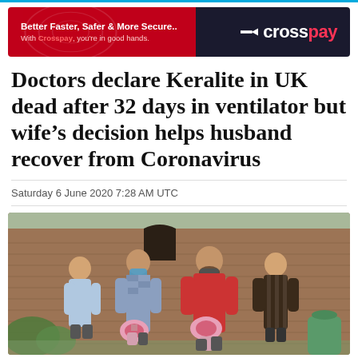[Figure (other): CrossPay advertisement banner with red and dark navy background. Text: 'Better Faster, Safer & More Secure.. With Crosspay, you're in good hands.' and CrossPay logo with arrow icon on right.]
Doctors declare Keralite in UK dead after 32 days in ventilator but wife's decision helps husband recover from Coronavirus
Saturday 6 June 2020 7:28 AM UTC
[Figure (photo): Four people standing in front of a brick building outdoors. Two men wearing face masks, one holding pink flowers, another holding a bouquet. Two women standing beside them. Appears to be taken at a hospital or similar institution.]